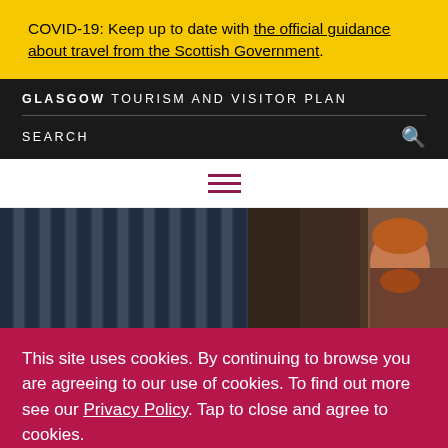COVID-19: Keep up to date with the official guidance about travel from the Scottish Government.
GLASGOW TOURISM AND VISITOR PLAN
SEARCH
[Figure (photo): Hamburger menu icon with three horizontal dark red/maroon lines]
[Figure (photo): Hero image showing a bearded man with reddish hair standing in front of classical stone columns with ornate ironwork]
This site uses cookies. By continuing to browse you are agreeing to our use of cookies. To find out more see our Privacy Policy. Tap to close and agree to cookies.